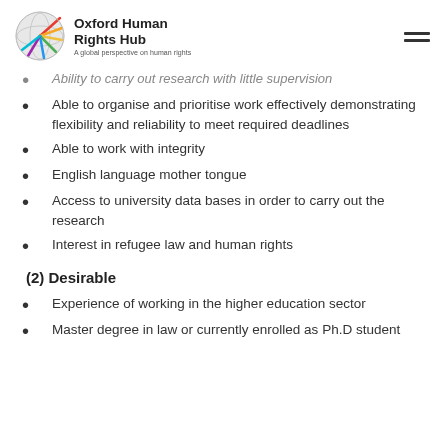Oxford Human Rights Hub — A global perspective on human rights
Ability to carry out research with little supervision
Able to organise and prioritise work effectively demonstrating flexibility and reliability to meet required deadlines
Able to work with integrity
English language mother tongue
Access to university data bases in order to carry out the research
Interest in refugee law and human rights
(2) Desirable
Experience of working in the higher education sector
Master degree in law or currently enrolled as Ph.D student